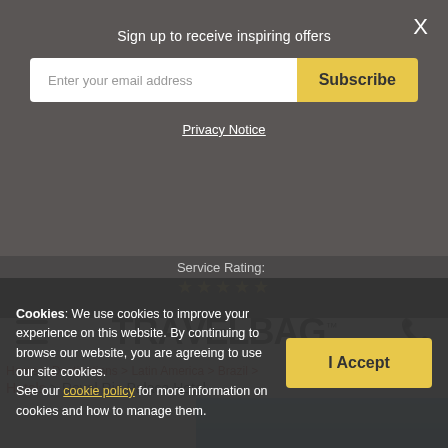Sign up to receive inspiring offers
Enter your email address
Subscribe
Privacy Notice
Service Rating: ★★★★★
[Figure (logo): TRAVELBAG logo with TM mark]
Home > Destinations > Latin America > Brazil > Hotels > Royal Rio Palace Hotel
[Figure (photo): Blue sky hotel photo preview]
Cookies: We use cookies to improve your experience on this website. By continuing to browse our website, you are agreeing to use our site cookies. See our cookie policy for more information on cookies and how to manage them.
I Accept